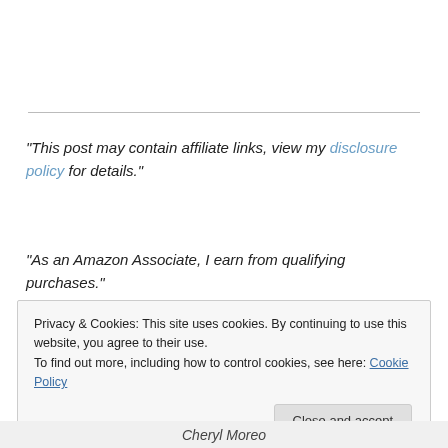"This post may contain affiliate links, view my disclosure policy for details."
"As an Amazon Associate, I earn from qualifying purchases."
Privacy & Cookies: This site uses cookies. By continuing to use this website, you agree to their use. To find out more, including how to control cookies, see here: Cookie Policy
Close and accept
Cheryl Moreo